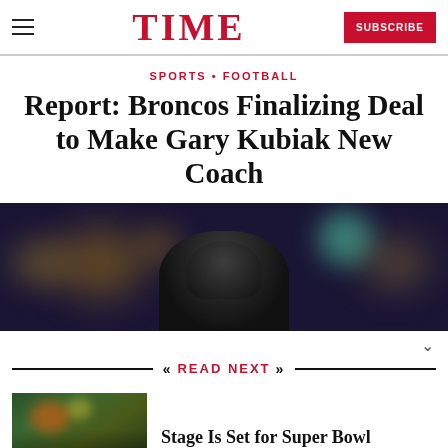TIME | SUBSCRIBE
SPORTS • FOOTBALL
Report: Broncos Finalizing Deal to Make Gary Kubiak New Coach
[Figure (photo): Blurred stadium photo with a football player helmet silhouette in the foreground against a dark background with bokeh lights]
READ NEXT
[Figure (photo): Thumbnail photo of football players on the field during a game]
Stage Is Set for Super Bowl